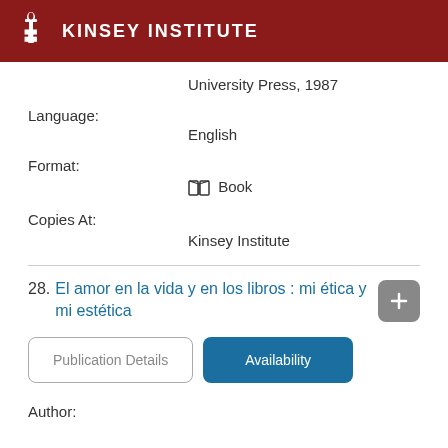KINSEY INSTITUTE
University Press, 1987
Language:
English
Format:
Book
Copies At:
Kinsey Institute
28. El amor en la vida y en los libros : mi ética y mi estética
Publication Details
Availability
Author: